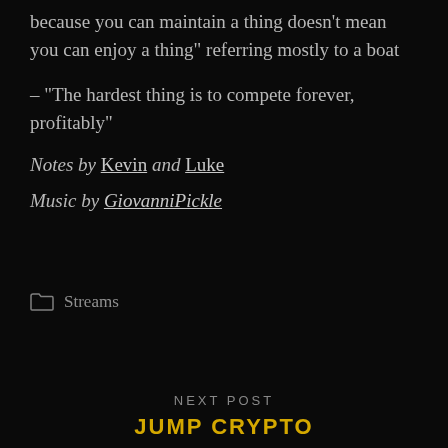because you can maintain a thing doesn't mean you can enjoy a thing” referring mostly to a boat
– “The hardest thing is to compete forever, profitably”
Notes by Kevin and Luke
Music by GiovanniPickle
Streams
NEXT POST
JUMP CRYPTO